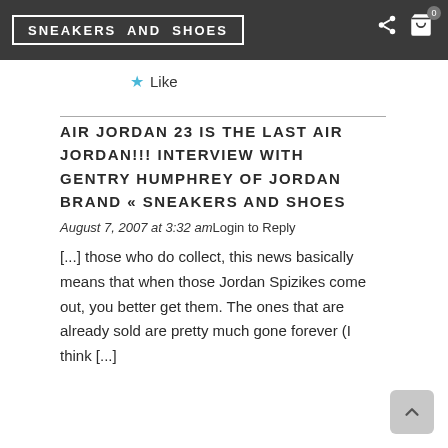SNEAKERS AND SHOES
★ Like
AIR JORDAN 23 IS THE LAST AIR JORDAN!!! INTERVIEW WITH GENTRY HUMPHREY OF JORDAN BRAND « SNEAKERS AND SHOES
August 7, 2007 at 3:32 amLogin to Reply
[...] those who do collect, this news basically means that when those Jordan Spizikes come out, you better get them. The ones that are already sold are pretty much gone forever (I think [...]